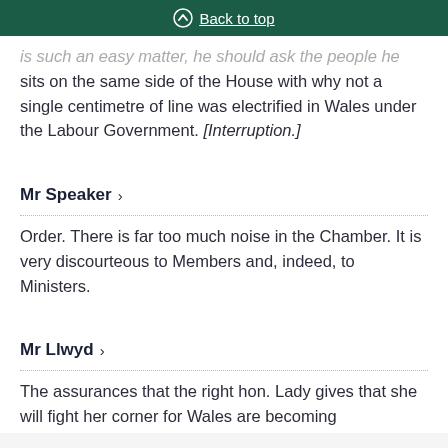Back to top
is such an easy matter, he should ask the people he sits on the same side of the House with why not a single centimetre of line was electrified in Wales under the Labour Government. [Interruption.]
Mr Speaker
Order. There is far too much noise in the Chamber. It is very discourteous to Members and, indeed, to Ministers.
Mr Llwyd
The assurances that the right hon. Lady gives that she will fight her corner for Wales are becoming